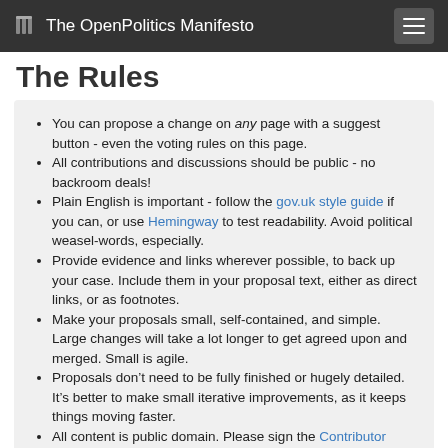The OpenPolitics Manifesto
The Rules
You can propose a change on any page with a suggest button - even the voting rules on this page.
All contributions and discussions should be public - no backroom deals!
Plain English is important - follow the gov.uk style guide if you can, or use Hemingway to test readability. Avoid political weasel-words, especially.
Provide evidence and links wherever possible, to back up your case. Include them in your proposal text, either as direct links, or as footnotes.
Make your proposals small, self-contained, and simple. Large changes will take a lot longer to get agreed upon and merged. Small is agile.
Proposals don’t need to be fully finished or hugely detailed. It’s better to make small iterative improvements, as it keeps things moving faster.
All content is public domain. Please sign the Contributor Licence Agreement when you make a